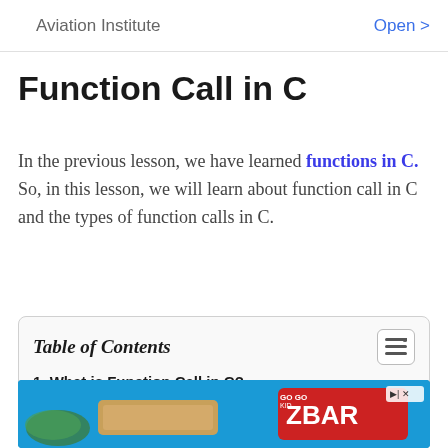Aviation Institute   Open >
Function Call in C
In the previous lesson, we have learned functions in C. So, in this lesson, we will learn about function call in C and the types of function calls in C.
Table of Contents
1. What is Function Call in C?
1.0.1. Introduction to Function Call in C:
[Figure (photo): Advertisement banner showing ZBAR chocolate snack product on a blue background]